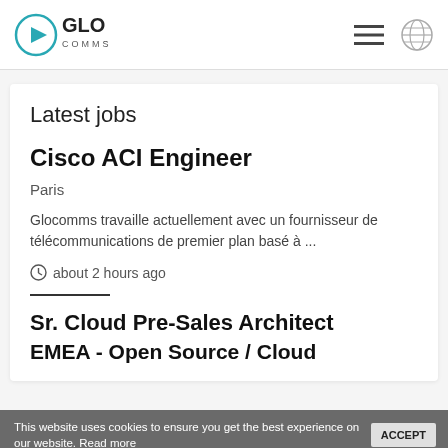GLO COMMS
Latest jobs
Cisco ACI Engineer
Paris
Glocomms travaille actuellement avec un fournisseur de télécommunications de premier plan basé à ...
about 2 hours ago
Sr. Cloud Pre-Sales Architect
EMEA - Open Source / Cloud
This website uses cookies to ensure you get the best experience on our website. Read more